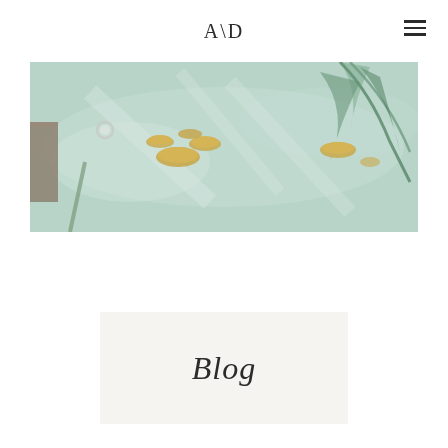A\D
[Figure (photo): Top-down view of a pool or water feature with lily pads and floating golden circular decorations on pale green water, with tropical palm leaf reflection visible]
Blog